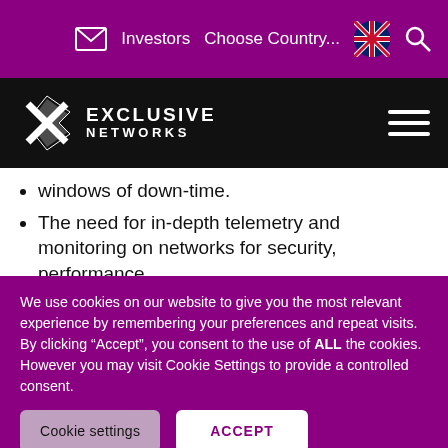Investors  Choose Country...  [flag]  [search]
[Figure (logo): Exclusive Networks logo on black background with hamburger menu icon]
windows of down-time.
The need for in-depth telemetry and monitoring on networks for security, performance
We use cookies on our website to give you the most relevant experience by remembering your preferences and repeat visits. By clicking “Accept”, you consent to the use of ALL the cookies. However you may visit Cookie Settings to provide a controlled consent.
Cookie settings  ACCEPT  REJECT